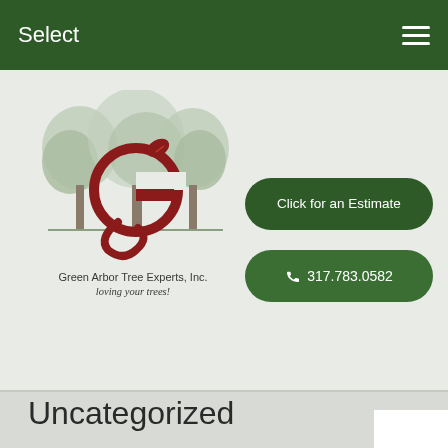Select
[Figure (logo): Green Arbor Tree Experts, Inc. logo featuring illustrated trees and a decorative 'g' letter in dark red/maroon, with company name 'Green Arbor Tree Experts, Inc.' and tagline 'loving your trees!']
Click for an Estimate
317.783.0582
Uncategorized